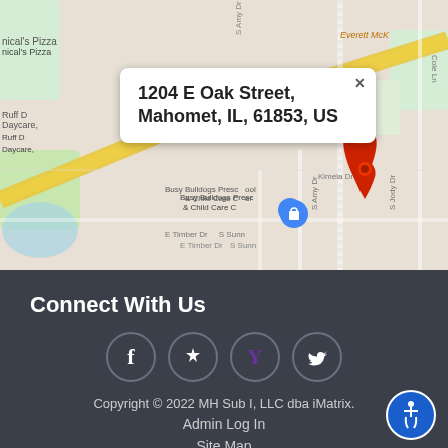[Figure (map): Google Maps screenshot showing location at 1204 E Oak Street, Mahomet, IL, 61853, US with a red location pin marker and address popup balloon. Street labels include Jeffery Dr, Everett McKinley, Kimela Dr, Cole Ln, S Amy Dr, S Jody Dr, E Timber Dr, S Sunny. Businesses visible: nical's Pizza, Ruff D Daycare, Busy Bulldogs Preschool & Child Care Center, John T. Karich DMD.]
1204 E Oak Street, Mahomet, IL, 61853, US
Connect With Us
[Figure (infographic): Four social media icons in dark circular borders: Facebook (f), Yelp (star/flower), Yahoo (Y), Twitter (bird)]
Copyright © 2022 MH Sub I, LLC dba iMatrix.
Admin Log In
Site Map